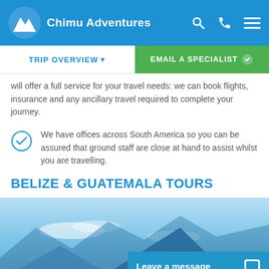Chimu Adventures
will offer a full service for your travel needs: we can book flights, insurance and any ancillary travel required to complete your journey.
We have offices across South America so you can be assured that ground staff are close at hand to assist whilst you are travelling.
BELIZE & GUATEMALA TOURS
[Figure (photo): Blue sky with mountain landscape for Belize & Guatemala Tours]
Leave a message